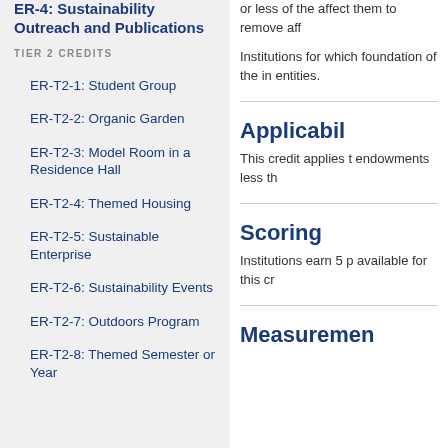ER-4: Sustainability Outreach and Publications
TIER 2 CREDITS
ER-T2-1: Student Group
ER-T2-2: Organic Garden
ER-T2-3: Model Room in a Residence Hall
ER-T2-4: Themed Housing
ER-T2-5: Sustainable Enterprise
ER-T2-6: Sustainability Events
ER-T2-7: Outdoors Program
ER-T2-8: Themed Semester or Year
or less of the affected them to remove aff
Institutions for which foundation of the in entities.
Applicabil
This credit applies to endowments less th
Scoring
Institutions earn 5 p available for this cr
Measuremen